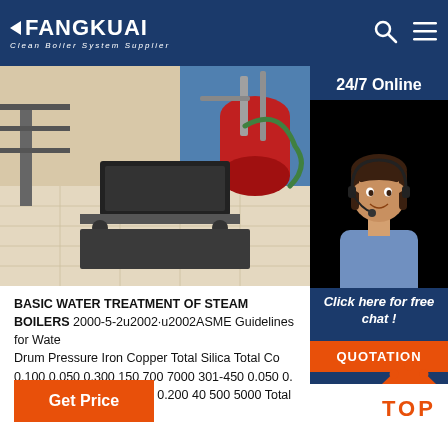FANGKUAI - Clean Boiler System Supplier
[Figure (photo): Industrial boiler facility interior with equipment, machinery, and polished floor; alongside a 24/7 online customer service panel with a female customer service representative wearing a headset]
BASIC WATER TREATMENT OF STEAM BOILERS 2000-5-2u2002·u2002ASME Guidelines for Water Drum Pressure Iron Copper Total Silica Total Con 0.100 0.050 0.300 150 700 7000 301-450 0.050 0. 6000 451-600 0.03 0.020 0.200 40 500 5000 Total Alkalinity must not ...
Get Price